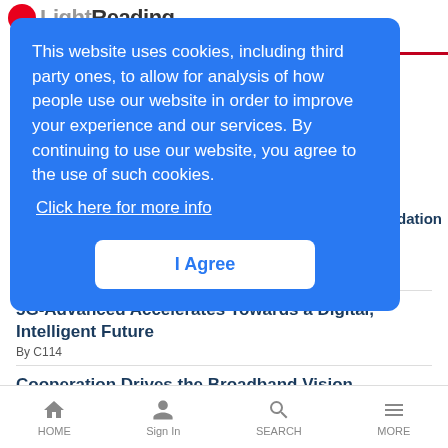Light Reading
This website uses cookies, including third party ones, to allow for analysis of how people use our website in order to improve your experience and our services. By continuing to use our website, you agree to the use of such cookies. Click here for more info
I Agree
By Peo Lehto, Head of Solution Area OSS, BCSS, Ericsson
5G-Advanced Accelerates Towards a Digital, Intelligent Future
By C114
Cooperation Drives the Broadband Vision
By Kerry Doyle
HOME  Sign In  SEARCH  MORE